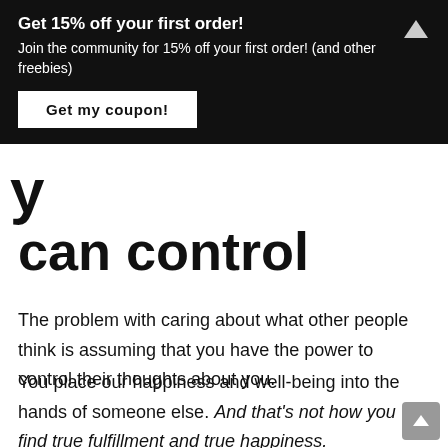Get 15% off your first order! Join the community for 15% off your first order! (and other freebies) Get my coupon!
can control
The problem with caring about what other people think is assuming that you have the power to control their thoughts about you.
You place our happiness and well-being into the hands of someone else. And that's not how you find true fulfillment and true happiness.